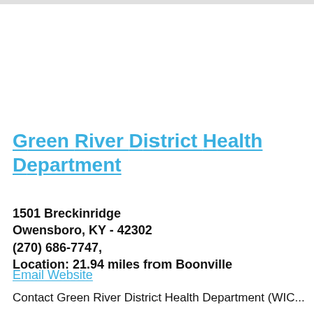Green River District Health Department
1501 Breckinridge
Owensboro, KY - 42302
(270) 686-7747,
Location: 21.94 miles from Boonville
Email Website
Contact Green River District Health Department (WIC...